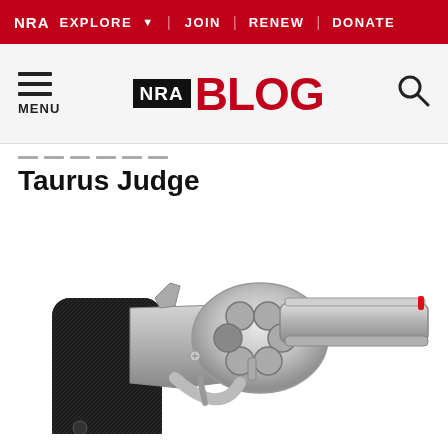NRA EXPLORE  JOIN | RENEW | DONATE
[Figure (logo): NRA Blog website header with hamburger menu, NRA BLOG logo in red and black, and search icon]
Taurus Judge
[Figure (photo): Photograph of a Taurus Judge revolver with stainless steel finish and black rubber grip, shown in profile against white background]